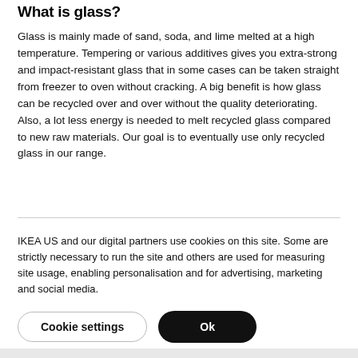What is glass?
Glass is mainly made of sand, soda, and lime melted at a high temperature. Tempering or various additives gives you extra-strong and impact-resistant glass that in some cases can be taken straight from freezer to oven without cracking. A big benefit is how glass can be recycled over and over without the quality deteriorating. Also, a lot less energy is needed to melt recycled glass compared to new raw materials. Our goal is to eventually use only recycled glass in our range.
IKEA US and our digital partners use cookies on this site. Some are strictly necessary to run the site and others are used for measuring site usage, enabling personalisation and for advertising, marketing and social media.
Cookie settings
Ok